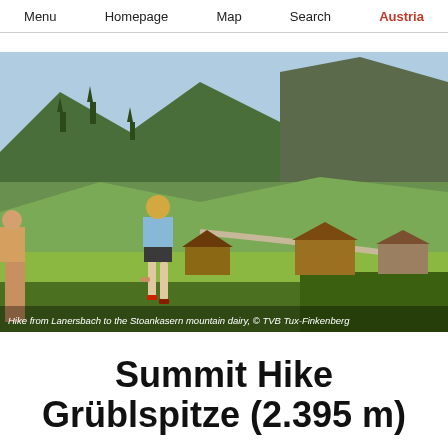Menu   Homepage   Map   Search   Austria
[Figure (photo): Two hikers (a woman in a light blue shirt and dark shorts with red shoes, and another person partially visible) walking on a green Alpine meadow, with mountain dairy buildings and forested rocky mountains in the background. Bright sunny day.]
Hike from Lanersbach to the Stoankasern mountain dairy, © TVB Tux-Finkenberg
Summit Hike Grüblspitze (2.395 m)